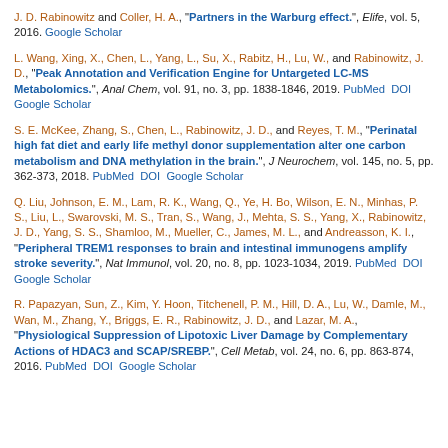J. D. Rabinowitz and Coller, H. A., "Partners in the Warburg effect.", Elife, vol. 5, 2016. Google Scholar
L. Wang, Xing, X., Chen, L., Yang, L., Su, X., Rabitz, H., Lu, W., and Rabinowitz, J. D., "Peak Annotation and Verification Engine for Untargeted LC-MS Metabolomics.", Anal Chem, vol. 91, no. 3, pp. 1838-1846, 2019. PubMed DOI Google Scholar
S. E. McKee, Zhang, S., Chen, L., Rabinowitz, J. D., and Reyes, T. M., "Perinatal high fat diet and early life methyl donor supplementation alter one carbon metabolism and DNA methylation in the brain.", J Neurochem, vol. 145, no. 5, pp. 362-373, 2018. PubMed DOI Google Scholar
Q. Liu, Johnson, E. M., Lam, R. K., Wang, Q., Ye, H. Bo, Wilson, E. N., Minhas, P. S., Liu, L., Swarovski, M. S., Tran, S., Wang, J., Mehta, S. S., Yang, X., Rabinowitz, J. D., Yang, S. S., Shamloo, M., Mueller, C., James, M. L., and Andreasson, K. I., "Peripheral TREM1 responses to brain and intestinal immunogens amplify stroke severity.", Nat Immunol, vol. 20, no. 8, pp. 1023-1034, 2019. PubMed DOI Google Scholar
R. Papazyan, Sun, Z., Kim, Y. Hoon, Titchenell, P. M., Hill, D. A., Lu, W., Damle, M., Wan, M., Zhang, Y., Briggs, E. R., Rabinowitz, J. D., and Lazar, M. A., "Physiological Suppression of Lipotoxic Liver Damage by Complementary Actions of HDAC3 and SCAP/SREBP.", Cell Metab, vol. 24, no. 6, pp. 863-874, 2016. PubMed DOI Google Scholar